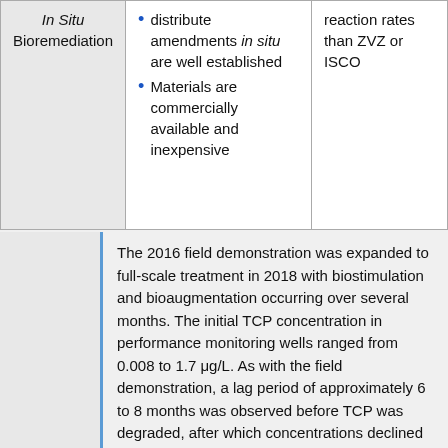|  | Advantages | Disadvantages |
| --- | --- | --- |
| In Situ Bioremediation | • distribute amendments in situ are well established
• Materials are commercially available and inexpensive | reaction rates than ZVZ or ISCO |
The 2016 field demonstration was expanded to full-scale treatment in 2018 with biostimulation and bioaugmentation occurring over several months. The initial TCP concentration in performance monitoring wells ranged from 0.008 to 1.7 μg/L. As with the field demonstration, a lag period of approximately 6 to 8 months was observed before TCP was degraded, after which concentrations declined over fifteen months to non-